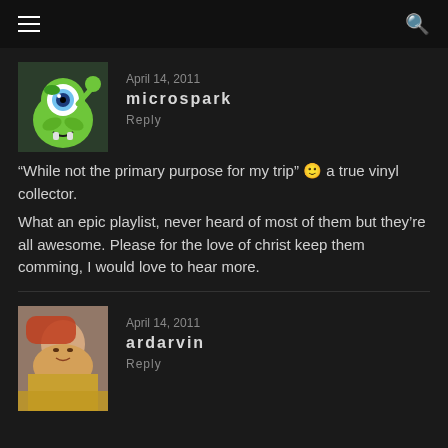April 14, 2011
microspark
Reply
“While not the primary purpose for my trip” 🙂 a true vinyl collector.
What an epic playlist, never heard of most of them but they’re all awesome. Please for the love of christ keep them comming, I would love to hear more.
April 14, 2011
ardarvin
Reply